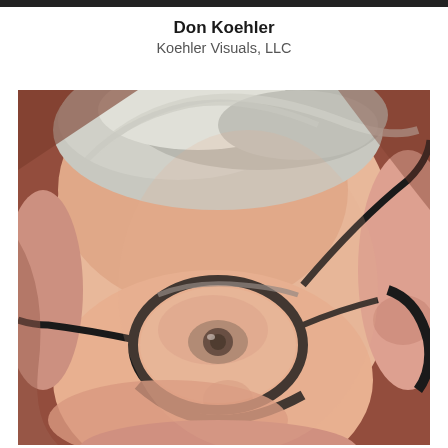Don Koehler
Koehler Visuals, LLC
[Figure (photo): Close-up photograph of an older man with white/grey hair wearing black-rimmed glasses, looking slightly downward. Background is a warm reddish-brown color. The photo is cropped to show the face and top of head.]